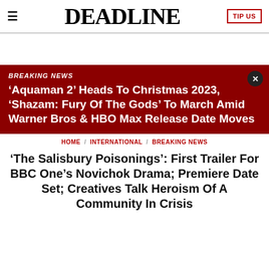≡   DEADLINE   TIP US
[Advertisement space]
BREAKING NEWS
'Aquaman 2' Heads To Christmas 2023, 'Shazam: Fury Of The Gods' To March Amid Warner Bros & HBO Max Release Date Moves
HOME / INTERNATIONAL / BREAKING NEWS
'The Salisbury Poisonings': First Trailer For BBC One's Novichok Drama; Premiere Date Set; Creatives Talk Heroism Of A Community In Crisis